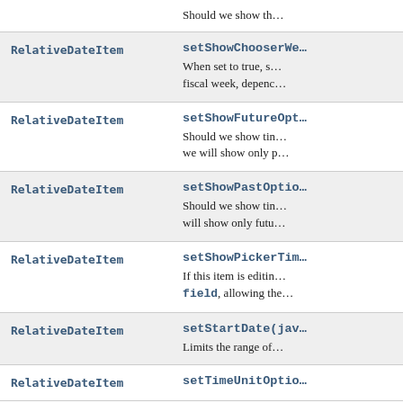| Class | Method / Description |
| --- | --- |
| RelativeDateItem | setShowChooserWe…
When set to true, s… fiscal week, depenc… |
| RelativeDateItem | setShowFutureOpt…
Should we show tin… we will show only p… |
| RelativeDateItem | setShowPastOptio…
Should we show tin… will show only futu… |
| RelativeDateItem | setShowPickerTim…
If this item is editin… field, allowing the… |
| RelativeDateItem | setStartDate(jav…
Limits the range of… |
| RelativeDateItem | setTimeUnitOptio… |